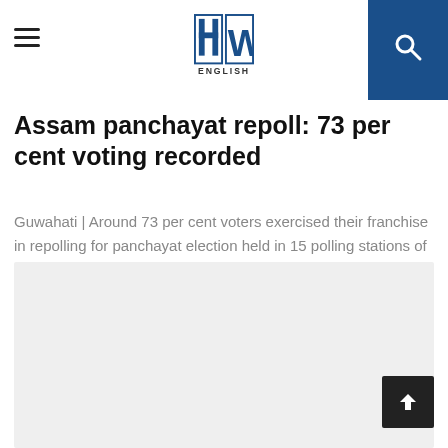HW ENGLISH
Assam panchayat repoll: 73 per cent voting recorded
Guwahati | Around 73 per cent voters exercised their franchise in repolling for panchayat election held in 15 polling stations of seven districts of Assam on...
[Figure (other): Advertisement placeholder box (light grey rectangle)]